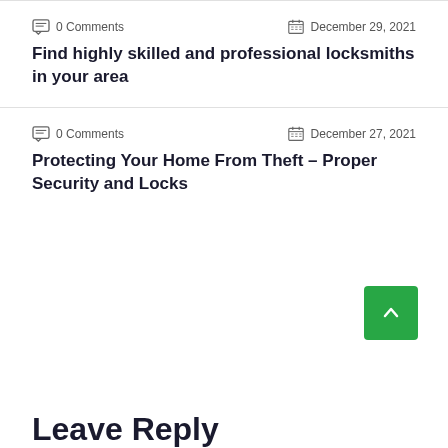0 Comments   December 29, 2021
Find highly skilled and professional locksmiths in your area
0 Comments   December 27, 2021
Protecting Your Home From Theft – Proper Security and Locks
Leave Reply